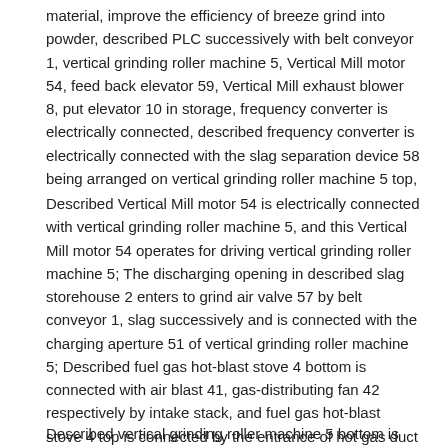material, improve the efficiency of breeze grind into powder, described PLC successively with belt conveyor 1, vertical grinding roller machine 5, Vertical Mill motor 54, feed back elevator 59, Vertical Mill exhaust blower 8, put elevator 10 in storage, frequency converter is electrically connected, described frequency converter is electrically connected with the slag separation device 58 being arranged on vertical grinding roller machine 5 top,
Described Vertical Mill motor 54 is electrically connected with vertical grinding roller machine 5, and this Vertical Mill motor 54 operates for driving vertical grinding roller machine 5; The discharging opening in described slag storehouse 2 enters to grind air valve 57 by belt conveyor 1, slag successively and is connected with the charging aperture 51 of vertical grinding roller machine 5; Described fuel gas hot-blast stove 4 bottom is connected with air blast 41, gas-distributing fan 42 respectively by intake stack, and fuel gas hot-blast stove 4 top is connected by the entrance of hot gas duct with vertical grinding roller machine 5;
Described vertical grinding roller machine 5 bottom is